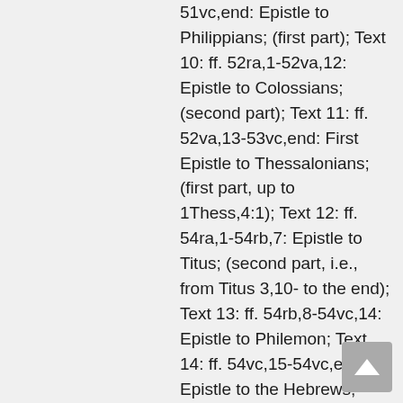51vc,end: Epistle to Philippians; (first part); Text 10: ff. 52ra,1-52va,12: Epistle to Colossians; (second part); Text 11: ff. 52va,13-53vc,end: First Epistle to Thessalonians; (first part, up to 1Thess,4:1); Text 12: ff. 54ra,1-54rb,7: Epistle to Titus; (second part, i.e., from Titus 3,10- to the end); Text 13: ff. 54rb,8-54vc,14: Epistle to Philemon; Text 14: ff. 54vc,15-54vc,end: Epistle to the Hebrews; (beginning: Hebr 1:1-3); Text 15: ff. 55ra,1-56rb,14: First Epistle to Thessalonians; (end); Text 16: ff. 56rb,15-57vb,12fb: Second Epistle to Thessalonians; Text 17: ff. 57vb,11fb-61rc,2: First Epistle to Timothy; Text 18: ff. 61rc,3-63vb,3: Second Epistle to Timothy; Text 19: ff. 63vb,4-63vc,end: Epistle to Titus; (first